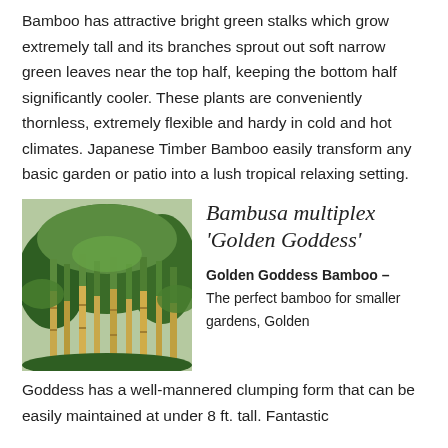Bamboo has attractive bright green stalks which grow extremely tall and its branches sprout out soft narrow green leaves near the top half, keeping the bottom half significantly cooler. These plants are conveniently thornless, extremely flexible and hardy in cold and hot climates. Japanese Timber Bamboo easily transform any basic garden or patio into a lush tropical relaxing setting.
[Figure (photo): Photo of bamboo grove showing tall green bamboo stalks with golden lower stems and lush green foliage]
Bambusa multiplex 'Golden Goddess'
Golden Goddess Bamboo – The perfect bamboo for smaller gardens, Golden Goddess has a well-mannered clumping form that can be easily maintained at under 8 ft. tall. Fantastic